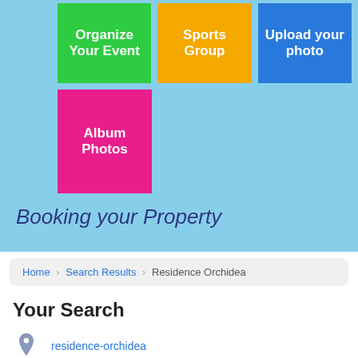[Figure (screenshot): Grid of colorful button tiles: green 'Organize Your Event', orange 'Sports Group', blue 'Upload your photo', pink 'Album Photos']
Booking your Property
Home > Search Results > Residence Orchidea
Your Search
residence-orchidea
adults   room
Modify Search